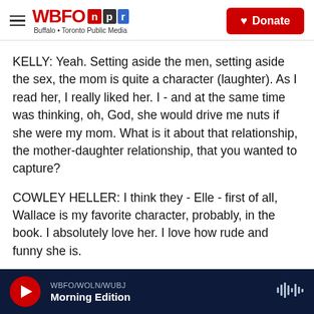WBFO npr | Buffalo + Toronto Public Media | Donate
KELLY: Yeah. Setting aside the men, setting aside the sex, the mom is quite a character (laughter). As I read her, I really liked her. I - and at the same time was thinking, oh, God, she would drive me nuts if she were my mom. What is it about that relationship, the mother-daughter relationship, that you wanted to capture?
COWLEY HELLER: I think they - Elle - first of all, Wallace is my favorite character, probably, in the book. I absolutely love her. I love how rude and funny she is.
WBFO/WOLN/WUBJ | Morning Edition